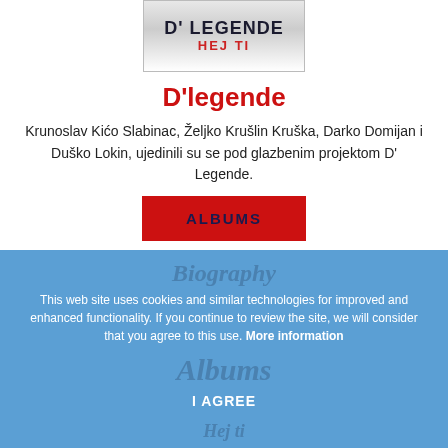[Figure (photo): Album cover image for D'Legende - Hej ti, showing the text D' LEGENDE and HEJ TI in red]
D'legende
Krunoslav Kićo Slabinac, Željko Krušlin Kruška, Darko Domijan i Duško Lokin, ujedinili su se pod glazbenim projektom D' Legende.
ALBUMS
Biography
This web site uses cookies and similar technologies for improved and enhanced functionality. If you continue to review the site, we will consider that you agree to this use. More information
Albums
I AGREE
Hej ti